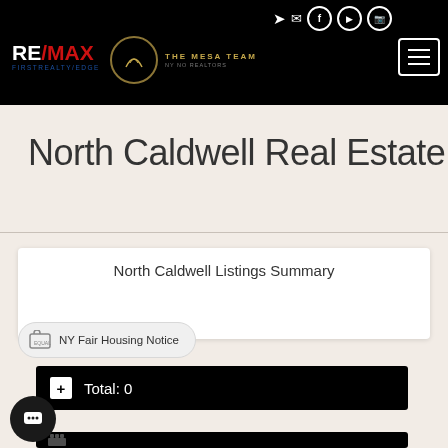RE/MAX FIRSTREALTY/EDGE — THE MESA TEAM — NY NO REALTORS
North Caldwell Real Estate
North Caldwell Listings Summary
NY Fair Housing Notice
Total: 0